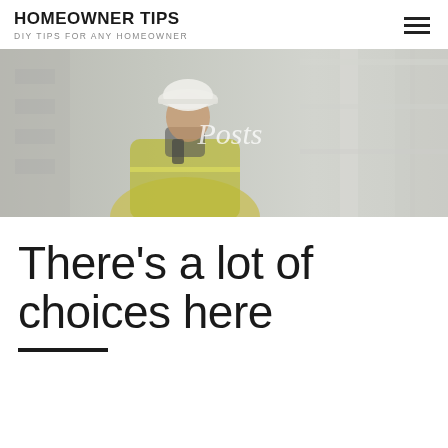HOMEOWNER TIPS
DIY TIPS FOR ANY HOMEOWNER
[Figure (photo): Construction worker wearing a white hard hat and yellow safety vest, holding a walkie-talkie radio, standing in a construction site with concrete pillars in the background. The image has a washed-out, faded appearance. The word 'Posts' appears overlaid in white italic text in the center of the image.]
There's a lot of choices here